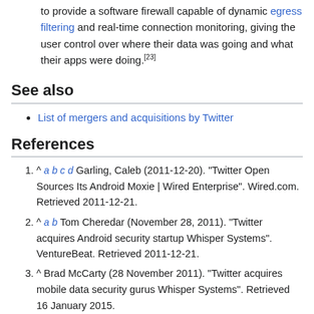to provide a software firewall capable of dynamic egress filtering and real-time connection monitoring, giving the user control over where their data was going and what their apps were doing.[23]
See also
List of mergers and acquisitions by Twitter
References
^ a b c d Garling, Caleb (2011-12-20). "Twitter Open Sources Its Android Moxie | Wired Enterprise". Wired.com. Retrieved 2011-12-21.
^ a b Tom Cheredar (November 28, 2011). "Twitter acquires Android security startup Whisper Systems". VentureBeat. Retrieved 2011-12-21.
^ Brad McCarty (28 November 2011). "Twitter acquires mobile data security gurus Whisper Systems". Retrieved 16 January 2015.
^ "Saudi telco asks researcher Moxie Marlinspike to help it spy on residents". SC Media US. 2013-05-13. Retrieved 2018-06-